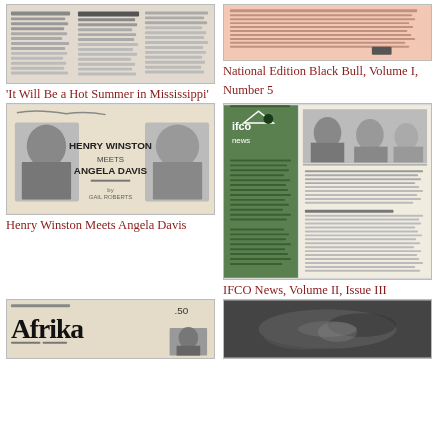[Figure (photo): Newspaper clipping thumbnail - 'It Will Be a Hot Summer in Mississippi' article]
'It Will Be a Hot Summer in Mississippi'
[Figure (photo): Pink/beige document thumbnail - National Edition Black Bull Volume I Number 5]
National Edition Black Bull, Volume I, Number 5
[Figure (photo): Newspaper clipping showing Henry Winston and Angela Davis photos with title text 'HENRY WINSTON MEETS ANGELA DAVIS']
Henry Winston Meets Angela Davis
[Figure (photo): IFCO News magazine spread with green cover panel and black and white interior pages showing photos and text]
IFCO News, Volume II, Issue III
[Figure (photo): Afrika newsletter thumbnail showing '.50' price and large 'Afrika' masthead text]
[Figure (photo): Dark/blurry black and white photo thumbnail]